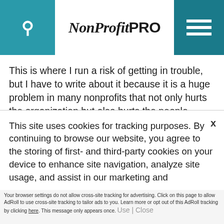NonProfit PRO
This is where I run a risk of getting in trouble, but I have to write about it because it is a huge problem in many nonprofits that not only hurts the organization but also hurts the people involved. I'm talking about taking your very best major gift officer and making them the manager of the major gift program.
It sounds logical, I know. And it does work
This site uses cookies for tracking purposes. By continuing to browse our website, you agree to the storing of first- and third-party cookies on your device to enhance site navigation, analyze site usage, and assist in our marketing and
Accept and Close ✕
Your browser settings do not allow cross-site tracking for advertising. Click on this page to allow AdRoll to use cross-site tracking to tailor ads to you. Learn more or opt out of this AdRoll tracking by clicking here. This message only appears once.